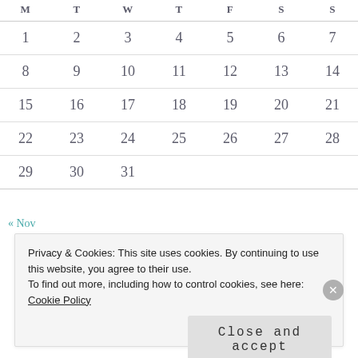| M | T | W | T | F | S | S |
| --- | --- | --- | --- | --- | --- | --- |
| 1 | 2 | 3 | 4 | 5 | 6 | 7 |
| 8 | 9 | 10 | 11 | 12 | 13 | 14 |
| 15 | 16 | 17 | 18 | 19 | 20 | 21 |
| 22 | 23 | 24 | 25 | 26 | 27 | 28 |
| 29 | 30 | 31 |  |  |  |  |
« Nov
Privacy & Cookies: This site uses cookies. By continuing to use this website, you agree to their use. To find out more, including how to control cookies, see here: Cookie Policy
Close and accept